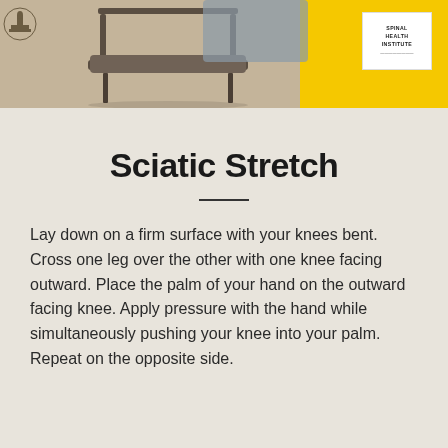[Figure (photo): Header banner showing a chair/furniture on a warm beige background on the left, and a yellow panel with a 'Spinal Health Institute' logo on the right.]
Sciatic Stretch
Lay down on a firm surface with your knees bent. Cross one leg over the other with one knee facing outward. Place the palm of your hand on the outward facing knee. Apply pressure with the hand while simultaneously pushing your knee into your palm. Repeat on the opposite side.